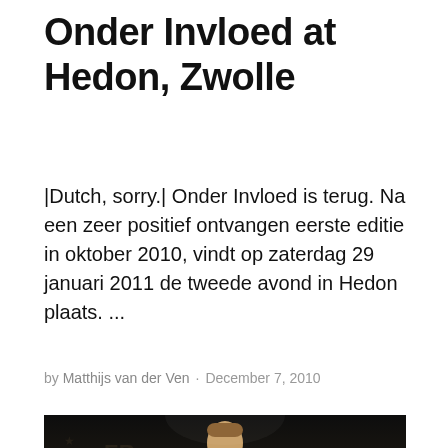Onder Invloed at Hedon, Zwolle
|Dutch, sorry.| Onder Invloed is terug. Na een zeer positief ontvangen eerste editie in oktober 2010, vindt op zaterdag 29 januari 2011 de tweede avond in Hedon plaats. ...
by Matthijs van der Ven · December 7, 2010
[Figure (photo): Dark photograph of a person (singer/performer) at a microphone on stage, with a star-patterned backdrop behind them.]